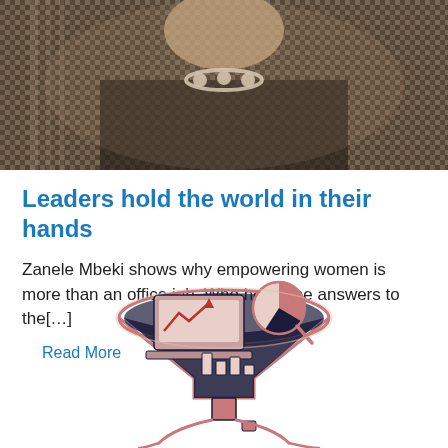[Figure (photo): Portrait photo of a woman wearing a dark patterned jacket and a white/cream statement necklace, photographed from chest up.]
Leaders hold the world in their hands
Zanele Mbeki shows why empowering women is more than an office job. Who holds the answers to the[...]
Read More
[Figure (illustration): Artistic illustration of a funnel/martini-glass shaped diagram containing a laptop with a downward chart, a pie chart, bar charts, and data analytics elements, in a rose/salmon and navy color palette. Below the funnel are stylized figures or symbols.]